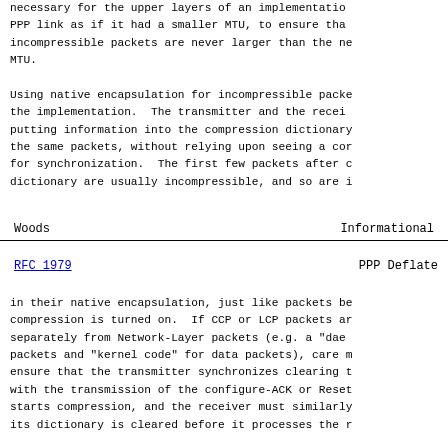necessary for the upper layers of an implementation. PPP link as if it had a smaller MTU, to ensure that incompressible packets are never larger than the ne MTU.
Using native encapsulation for incompressible packe the implementation.  The transmitter and the recei putting information into the compression dictionary the same packets, without relying upon seeing a cor for synchronization.  The first few packets after c dictionary are usually incompressible, and so are i
Woods                       Informational
RFC 1979                    PPP Deflate
in their native encapsulation, just like packets be compression is turned on.  If CCP or LCP packets ar separately from Network-Layer packets (e.g. a "dae packets and "kernel code" for data packets), care m ensure that the transmitter synchronizes clearing t with the transmission of the configure-ACK or Reset starts compression, and the receiver must similarly its dictionary is cleared before it processes the r